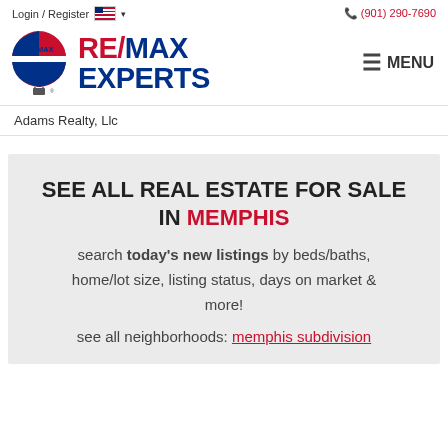Login / Register  (901) 290-7690
[Figure (logo): RE/MAX Experts logo with hot air balloon graphic and RE/MAX Experts wordmark in red and blue]
Adams Realty, Llc
SEE ALL REAL ESTATE FOR SALE IN MEMPHIS
search today's new listings by beds/baths, home/lot size, listing status, days on market & more!
see all neighborhoods: memphis subdivision